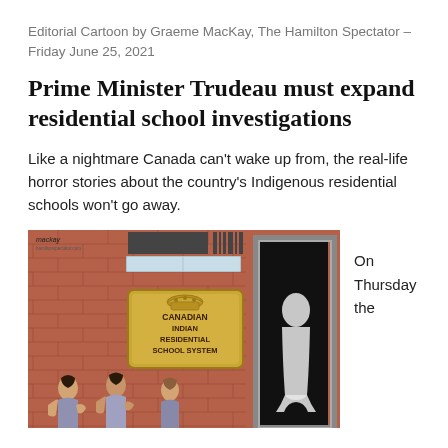Editorial Cartoon by Graeme MacKay, The Hamilton Spectator – Friday June 25, 2021
Prime Minister Trudeau must expand residential school investigations
Like a nightmare Canada can't wake up from, the real-life horror stories about the country's Indigenous residential schools won't go away.
[Figure (illustration): Editorial cartoon by Graeme MacKay showing the exterior of a brick building with a sign reading 'CANADIAN INDIAN RESIDENTIAL SCHOOL SYSTEM'. A dark open doorway is visible on the right. Indigenous children and figures are depicted near the entrance. The artist's signature 'mackay' appears in the upper left.]
On Thursday the